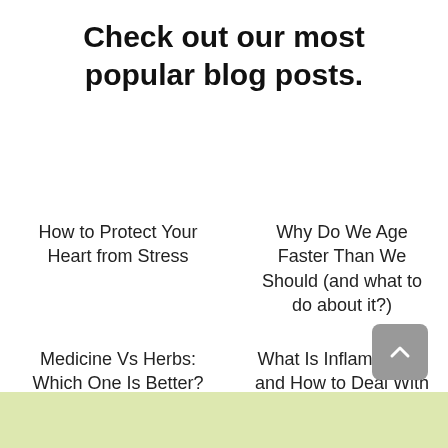Check out our most popular blog posts.
How to Protect Your Heart from Stress
Why Do We Age Faster Than We Should (and what to do about it?)
Medicine Vs Herbs: Which One Is Better?
What Is Inflammation and How to Deal With It